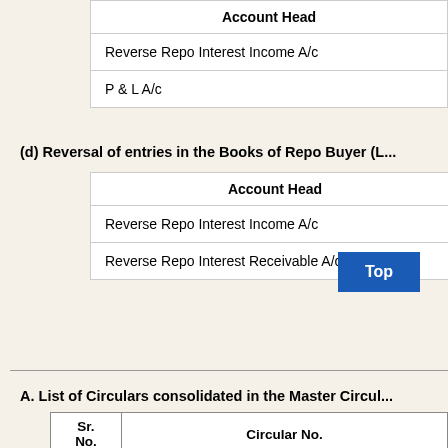| Account Head |
| --- |
| Reverse Repo Interest Income A/c |
| P & L A/c |
(d) Reversal of entries in the Books of Repo Buyer (L...
| Account Head |
| --- |
| Reverse Repo Interest Income A/c |
| Reverse Repo Interest Receivable A/c |
A. List of Circulars consolidated in the Master Circul...
| Sr. No. | Circular No. |
| --- | --- |
| 1 | UBD.BPD(PCB).No.17/12.05.001/2011-12 |